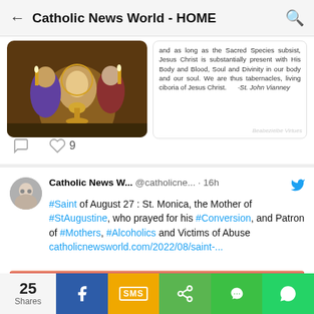Catholic News World - HOME
[Figure (screenshot): Partial view of a tweet with a religious painting showing figures around a monstrance/chalice, and a quote text area]
and as long as the Sacred Species subsist, Jesus Christ is substantially present with His Body and Blood, Soul and Divinity in our body and our soul. We are thus tabernacles, living ciboria of Jesus Christ. -St. John Vianney
9 (likes)
[Figure (screenshot): Tweet from Catholic News World (@catholicne...) · 16h with Twitter bird icon. Text: #Saint of August 27 : St. Monica, the Mother of #StAugustine, who prayed for his #Conversion, and Patron of #Mothers, #Alcoholics and Victims of Abuse catholicnewsworld.com/2022/08/saint-...]
[Figure (illustration): Partial religious illustration showing a saint figure with letters T and C visible, pink/red tones with purple halo]
25 Shares
f (Facebook share button)
SMS
Share
WeChat
WhatsApp